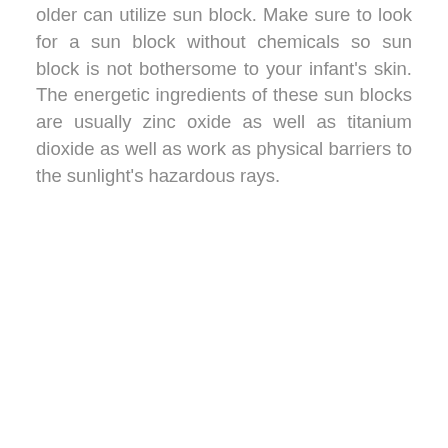older can utilize sun block. Make sure to look for a sun block without chemicals so sun block is not bothersome to your infant's skin. The energetic ingredients of these sun blocks are usually zinc oxide as well as titanium dioxide as well as work as physical barriers to the sunlight's hazardous rays.